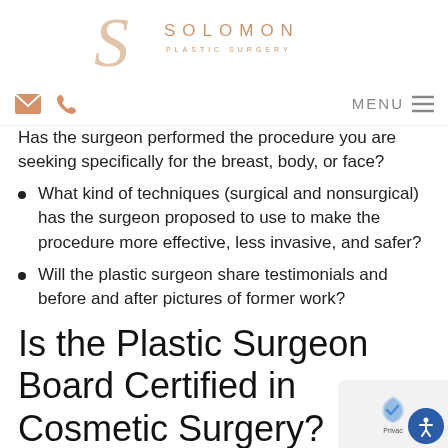[Figure (logo): Solomon Plastic Surgery logo with decorative script S and text]
MENU navigation bar with email and phone icons
Has the surgeon performed the procedure you are seeking specifically for the breast, body, or face?
What kind of techniques (surgical and nonsurgical) has the surgeon proposed to use to make the procedure more effective, less invasive, and safer?
Will the plastic surgeon share testimonials and before and after pictures of former work?
Is the Plastic Surgeon Board Certified in Cosmetic Surgery?